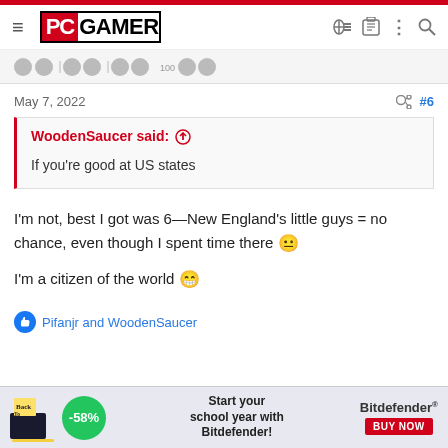PC GAMER
May 7, 2022   #6
WoodenSaucer said: ↑

If you're good at US states
I'm not, best I got was 6—New England's little guys = no chance, even though I spent time there 😐

I'm a citizen of the world 😁
Pifanjr and WoodenSaucer
[Figure (infographic): Back to School advertisement banner with -58% badge, school supplies illustration, 'Start your school year with Bitdefender!' text, and BUY NOW button]